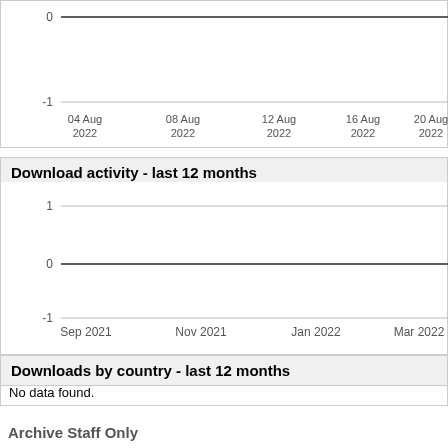[Figure (continuous-plot): Top portion of a line chart showing download activity. Y-axis shows values 0 and -1. X-axis shows dates: 04 Aug 2022, 08 Aug 2022, 12 Aug 2022, 16 Aug 2022, 20 Aug 2022.]
Download activity - last 12 months
[Figure (continuous-plot): Line chart showing download activity over last 12 months. Y-axis shows values 1, 0, -1. X-axis shows dates: Sep 2021, Nov 2021, Jan 2022, Mar 2022. The line remains at 0.]
Downloads by country - last 12 months
No data found.
Archive Staff Only